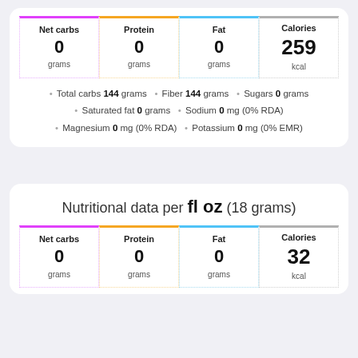| Net carbs | Protein | Fat | Calories |
| --- | --- | --- | --- |
| 0 grams | 0 grams | 0 grams | 259 kcal |
Total carbs 144 grams • Fiber 144 grams • Sugars 0 grams • Saturated fat 0 grams • Sodium 0 mg (0% RDA) • Magnesium 0 mg (0% RDA) • Potassium 0 mg (0% EMR)
Nutritional data per fl oz (18 grams)
| Net carbs | Protein | Fat | Calories |
| --- | --- | --- | --- |
| 0 grams | 0 grams | 0 grams | 32 kcal |